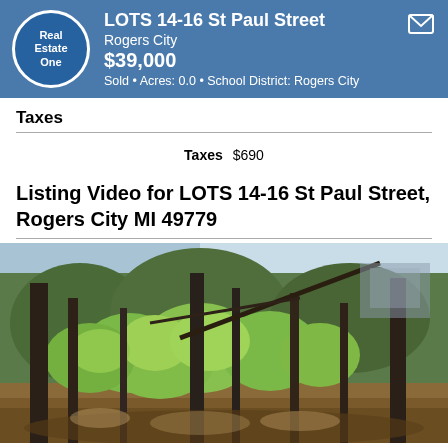LOTS 14-16 St Paul Street | Rogers City | $39,000 | Sold • Acres: 0.0 • School District: Rogers City
Taxes
| Taxes | $690 |
| --- | --- |
Listing Video for LOTS 14-16 St Paul Street, Rogers City MI 49779
[Figure (photo): Wooded lot with trees and brush, early spring foliage, natural land scene]